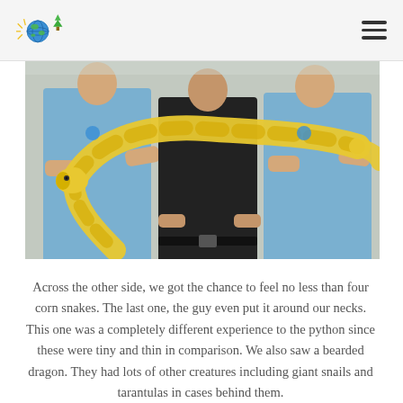Zoo logo and navigation menu
[Figure (photo): Three people holding a large yellow/albino python outdoors. Two people wearing light blue polo shirts with a globe logo, and one person in a black jacket in the center. The snake is draped across all three people's arms.]
Across the other side, we got the chance to feel no less than four corn snakes. The last one, the guy even put it around our necks. This one was a completely different experience to the python since these were tiny and thin in comparison. We also saw a bearded dragon. They had lots of other creatures including giant snails and tarantulas in cases behind them.